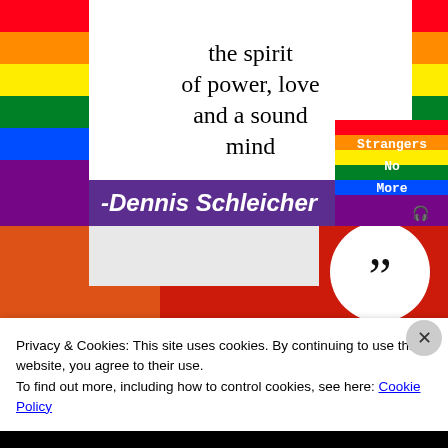[Figure (illustration): Book cover image with rainbow flag background, white quote box, purple banner with author name Dennis Schleicher, and a 'Strangers No More' overlay. Text reads: 'the spirit of power, love and a sound mind']
[Figure (illustration): Bottom portion showing red background (likely another book cover) with a large white circle containing black quotation marks]
Privacy & Cookies: This site uses cookies. By continuing to use this website, you agree to their use.
To find out more, including how to control cookies, see here: Cookie Policy
Close and accept